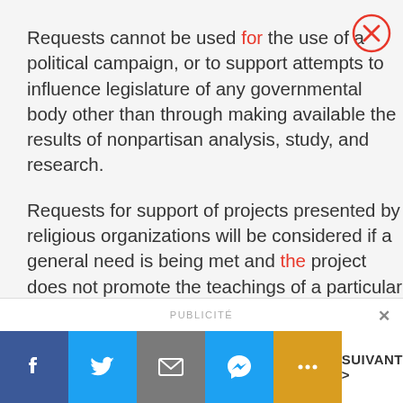Requests cannot be used for the use of a political campaign, or to support attempts to influence legislature of any governmental body other than through making available the results of nonpartisan analysis, study, and research.
Requests for support of projects presented by religious organizations will be considered if a general need is being met and the project does not promote the teachings of a particular church or denomination.
[Figure (other): Red circle with X close button in top right corner]
PUBLICITÉ — bottom navigation bar with Facebook, Twitter, Email, Messenger, More icons and SUIVANT >